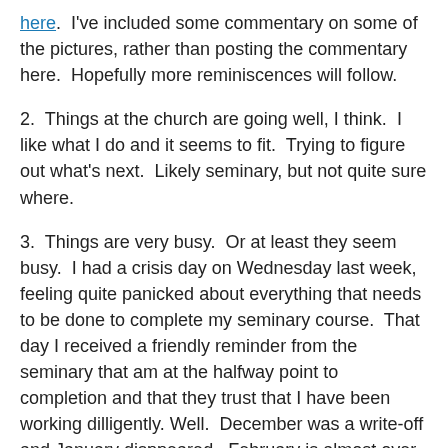here.  I've included some commentary on some of the pictures, rather than posting the commentary here.  Hopefully more reminiscences will follow.
2.  Things at the church are going well, I think.  I like what I do and it seems to fit.  Trying to figure out what's next.  Likely seminary, but not quite sure where.
3.  Things are very busy.  Or at least they seem busy.  I had a crisis day on Wednesday last week, feeling quite panicked about everything that needs to be done to complete my seminary course.  That day I received a friendly reminder from the seminary that am at the halfway point to completion and that they trust that I have been working dilligently. Well.  December was a write-off and January disppeared.  February is almost over already and it just began.  Bleh.  I shall overcome.
4.  Because of #3 I need to streamline.  I'd like to blog more,